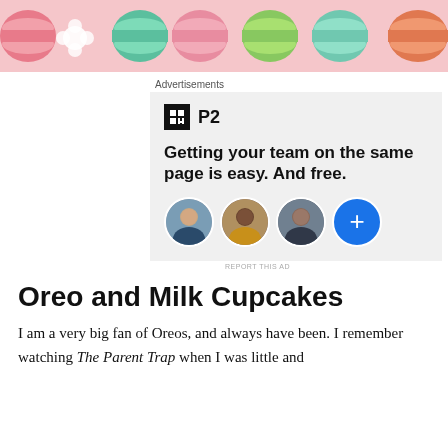[Figure (photo): Colorful macarons banner image at top of page]
Advertisements
[Figure (screenshot): P2 advertisement: logo with black square containing H icon and 'P2' text. Headline: 'Getting your team on the same page is easy. And free.' Three circular profile photo avatars and a blue circle with plus sign.]
REPORT THIS AD
Oreo and Milk Cupcakes
I am a very big fan of Oreos, and always have been. I remember watching The Parent Trap when I was little and